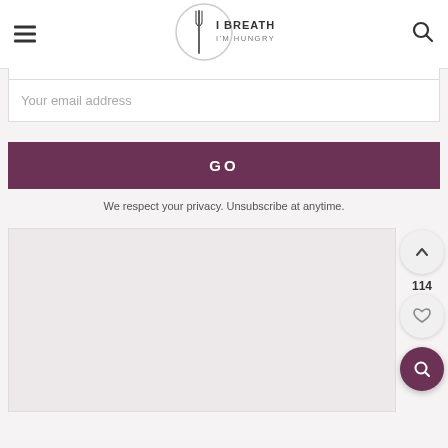[Figure (logo): I Breathe I'm Hungry logo with fork icon inside a circle]
Your email address
GO
We respect your privacy. Unsubscribe at anytime.
[Figure (other): Light pinkish-grey content placeholder area]
114